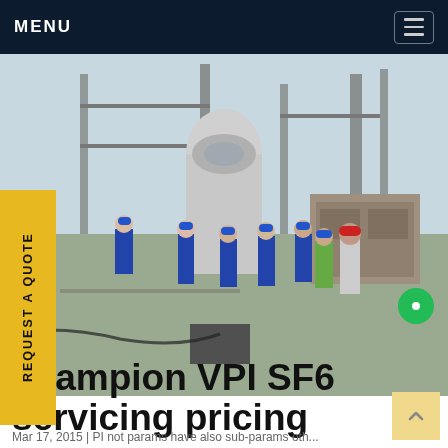MENU
[Figure (photo): Workers in blue hard hats and coveralls at an industrial/electrical substation site with large equipment and machinery]
REQUEST A QUOTE
Champion VPI SF6 servicing pricing
Mar 17, 2015 | PI net params have also sub-params oth...